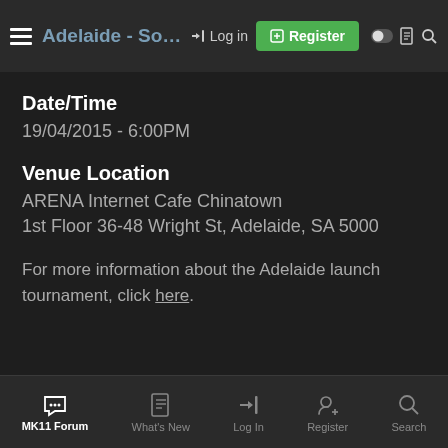Adelaide - South Australia | Log in | Register
Date/Time
19/04/2015 - 6:00PM
Venue Location
ARENA Internet Cafe Chinatown
1st Floor 36-48 Wright St, Adelaide, SA 5000
For more information about the Adelaide launch tournament, click here.
MK11 Forum | What's New | Log In | Register | Search